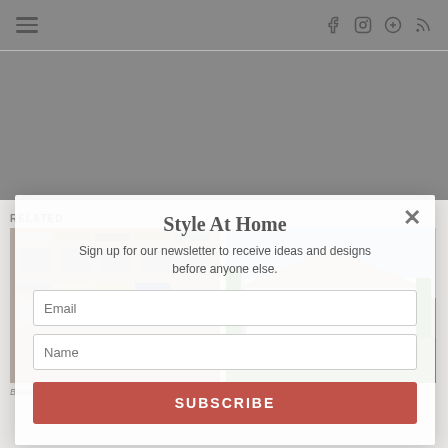Navigation bar with hamburger menu and social icons (Facebook, Instagram, Pinterest, RSS)
[Figure (screenshot): Gray placeholder image area occupying the top portion of the page]
Related
[Figure (photo): Thumbnail image of basement color palette]
[Figure (photo): Thumbnail image of house exterior - Homearama 2017 Kickoff]
Basement Color Palette in
Homearama 2017 Kickoff
Style At Home
Sign up for our newsletter to receive ideas and designs before anyone else.
Email
Name
SUBSCRIBE